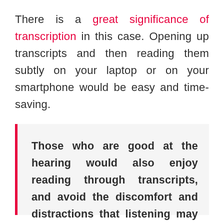There is a great significance of transcription in this case. Opening up transcripts and then reading them subtly on your laptop or on your smartphone would be easy and time-saving.
Those who are good at the hearing would also enjoy reading through transcripts, and avoid the discomfort and distractions that listening may potentially cause.